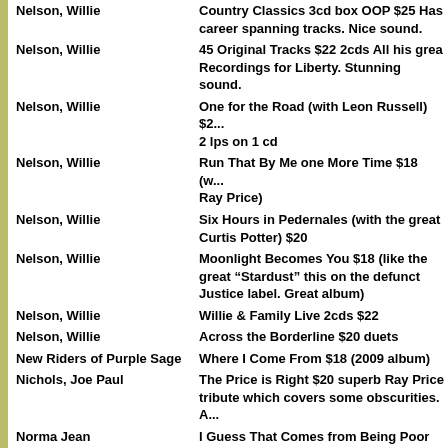| Artist | Description |
| --- | --- |
| Nelson, Willie | Country Classics 3cd box OOP $25 Has career spanning tracks. Nice sound. |
| Nelson, Willie | 45 Original Tracks $22 2cds All his great Recordings for Liberty. Stunning sound. |
| Nelson, Willie | One for the Road (with Leon Russell) $2... 2 lps on 1 cd |
| Nelson, Willie | Run That By Me one More Time $18 (with Ray Price) |
| Nelson, Willie | Six Hours in Pedernales (with the great Curtis Potter) $20 |
| Nelson, Willie | Moonlight Becomes You $18 (like the great "Stardust" this on the defunct Justice label. Great album) |
| Nelson, Willie | Willie & Family Live 2cds $22 |
| Nelson, Willie | Across the Borderline $20 duets |
| New Riders of Purple Sage | Where I Come From $18 (2009 album) |
| Nichols, Joe Paul | The Price is Right $20 superb Ray Price tribute which covers some obscurities. A... |
| Norma Jean | I Guess That Comes from Being Poor $2... 30 superb original RCA tracks. |
| O'Donnell, Daniel/ Mary Duff | Together Again $20 cd + dvd |
| O'Kanes | The Only Years $20 Best of compilation... |
| Olsen, Troy | Living in Your World $18 |
| Olson, Mark/Gary Louris | Ready for the Flood $18 |
| Overstreet, Paul | A Songwriter's Project Vol 1 $18 He does... |